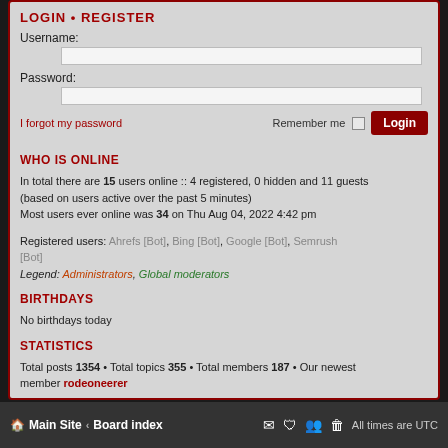LOGIN • REGISTER
Username:
Password:
I forgot my password    Remember me  Login
WHO IS ONLINE
In total there are 15 users online :: 4 registered, 0 hidden and 11 guests (based on users active over the past 5 minutes)
Most users ever online was 34 on Thu Aug 04, 2022 4:42 pm
Registered users: Ahrefs [Bot], Bing [Bot], Google [Bot], Semrush [Bot]
Legend: Administrators, Global moderators
BIRTHDAYS
No birthdays today
STATISTICS
Total posts 1354 • Total topics 355 • Total members 187 • Our newest member rodeoneerer
Main Site  Board index    All times are UTC